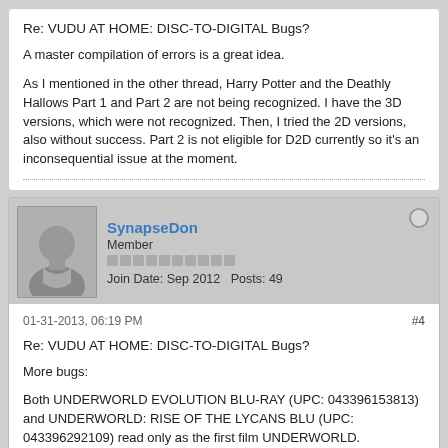Re: VUDU AT HOME: DISC-TO-DIGITAL Bugs?
A master compilation of errors is a great idea.
As I mentioned in the other thread, Harry Potter and the Deathly Hallows Part 1 and Part 2 are not being recognized. I have the 3D versions, which were not recognized. Then, I tried the 2D versions, also without success. Part 2 is not eligible for D2D currently so it's an inconsequential issue at the moment.
SynapseDon
Member
Join Date: Sep 2012  Posts: 49
01-31-2013, 06:19 PM
#4
Re: VUDU AT HOME: DISC-TO-DIGITAL Bugs?
More bugs:
Both UNDERWORLD EVOLUTION BLU-RAY (UPC: 043396153813) and UNDERWORLD: RISE OF THE LYCANS BLU (UPC: 043396292109) read only as the first film UNDERWORLD.